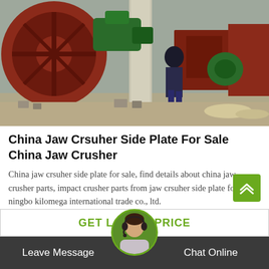[Figure (photo): Industrial jaw crusher machinery at a worksite; a person in dark jacket stands among large red metal equipment with green motor components and concrete pillars.]
China Jaw Crsuher Side Plate For Sale China Jaw Crusher
China jaw crsuher side plate for sale, find details about china jaw crusher parts, impact crusher parts from jaw crsuher side plate for sale - ningbo kilomega international trade co., ltd.
GET LATEST PRICE
Leave Message
Chat Online